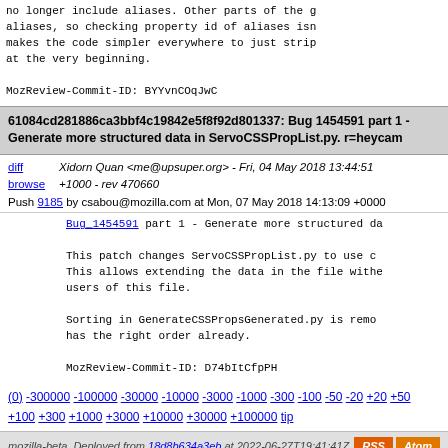no longer include aliases. Other parts of the g aliases, so checking property id of aliases isn makes the code simpler everywhere to just strip at the very beginning.

MozReview-Commit-ID: BYYvnCOqJwC
61084cd281886ca3bbf4c19842e5f8f92d801337: Bug 1454591 part 1 - Generate more structured data in ServoCSSPropList.py. r=heycam
Xidorn Quan <me@upsuper.org> - Fri, 04 May 2018 13:44:51 +1000 - rev 470660
Push 9185 by csabou@mozilla.com at Mon, 07 May 2018 14:13:09 +0000
Bug_1454591 part 1 - Generate more structured da

This patch changes ServoCSSPropList.py to use c This allows extending the data in the file withe users of this file.

Sorting in GenerateCSSPropsGenerated.py is remo has the right order already.

MozReview-Commit-ID: D74bItCfpPH
(0) -300000 -100000 -30000 -10000 -3000 -1000 -300 -100 -50 -20 +20 +50 +100 +300 +1000 +3000 +10000 +30000 +100000 tip
mozilla-beta  Deployed from 18d8b634a3eb at 2022-06-27T19:41:41Z.